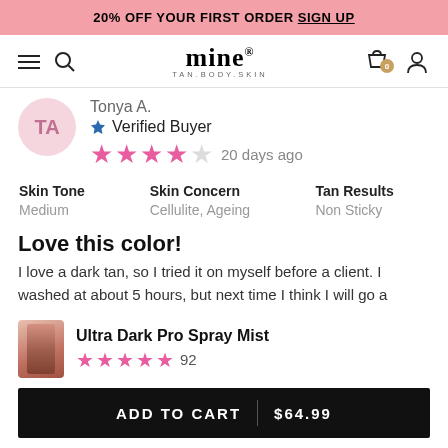20% OFF YOUR FIRST ORDER SIGN UP
[Figure (screenshot): Mine Tan Body Skin navigation bar with hamburger menu, search icon, logo, bag (0 items) and user icon]
Tonya A.
Verified Buyer
★★★★☆ 20 days ago
| Skin Tone | Skin Concern | Tan Results |
| --- | --- | --- |
| Medium | Cellulite, Ageing | Non Sticky |
Love this color!
I love a dark tan, so I tried it on myself before a client. I washed at about 5 hours, but next time I think I will go a
Ultra Dark Pro Spray Mist
★★★★★ 92
ADD TO CART | $64.99